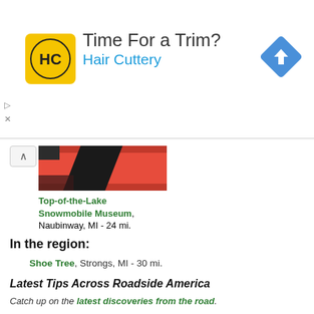[Figure (infographic): Hair Cuttery advertisement banner with yellow HC logo, text 'Time For a Trim?' and 'Hair Cuttery', and a blue diamond navigation icon on the right]
[Figure (photo): Photo of orange and black snowmobile or vehicle hood detail]
Top-of-the-Lake Snowmobile Museum, Naubinway, MI - 24 mi.
In the region:
Shoe Tree, Strongs, MI - 30 mi.
Latest Tips Across Roadside America
Catch up on the latest discoveries from the road.